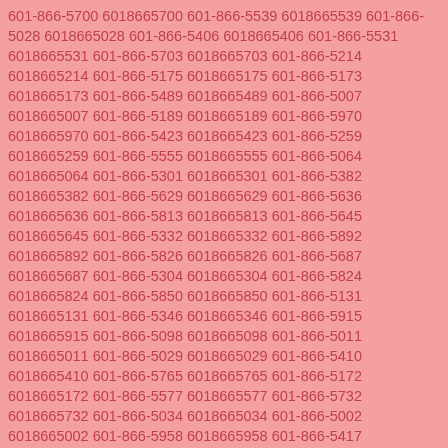601-866-5700 6018665700 601-866-5539 6018665539 601-866-5028 6018665028 601-866-5406 6018665406 601-866-5531 6018665531 601-866-5703 6018665703 601-866-5214 6018665214 601-866-5175 6018665175 601-866-5173 6018665173 601-866-5489 6018665489 601-866-5007 6018665007 601-866-5189 6018665189 601-866-5970 6018665970 601-866-5423 6018665423 601-866-5259 6018665259 601-866-5555 6018665555 601-866-5064 6018665064 601-866-5301 6018665301 601-866-5382 6018665382 601-866-5629 6018665629 601-866-5636 6018665636 601-866-5813 6018665813 601-866-5645 6018665645 601-866-5332 6018665332 601-866-5892 6018665892 601-866-5826 6018665826 601-866-5687 6018665687 601-866-5304 6018665304 601-866-5824 6018665824 601-866-5850 6018665850 601-866-5131 6018665131 601-866-5346 6018665346 601-866-5915 6018665915 601-866-5098 6018665098 601-866-5011 6018665011 601-866-5029 6018665029 601-866-5410 6018665410 601-866-5765 6018665765 601-866-5172 6018665172 601-866-5577 6018665577 601-866-5732 6018665732 601-866-5034 6018665034 601-866-5002 6018665002 601-866-5958 6018665958 601-866-5417 6018665417 601-866-5581 6018665581 601-866-5901 6018665901 601-866-5079 6018665079 601-866-5345 6018665345 601-866-5551 6018665551 601-866-5018 6018665018 601-866-5857 6018665857 601-866-5191 6018665191 601-866-5735 6018665735 601-866-5561 6018665561 601-866-5673 6018665673 601-866-5588 6018665588 601-866-5016 6018665016 601-866-5475 6018665475 601-866-5675 6018665675 601-866-5186